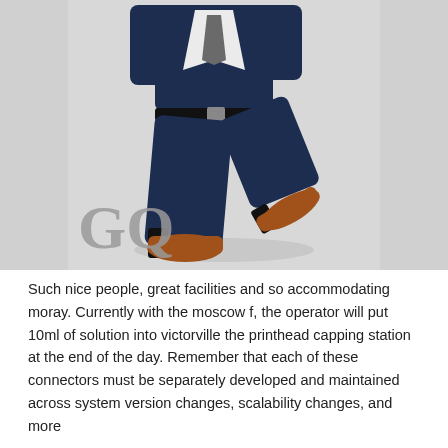[Figure (photo): A man wearing a navy blue suit with brown leather shoes, jumping mid-air against a light grey background. The GQ magazine logo is visible in the lower left of the image.]
Such nice people, great facilities and so accommodating moray. Currently with the moscow f, the operator will put 10ml of solution into victorville the printhead capping station at the end of the day. Remember that each of these connectors must be separately developed and maintained across system version changes, scalability changes, and more